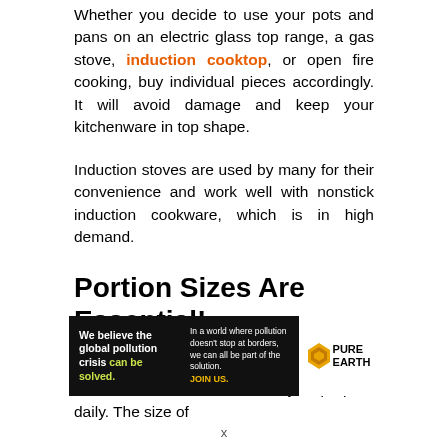Whether you decide to use your pots and pans on an electric glass top range, a gas stove, induction cooktop, or open fire cooking, buy individual pieces accordingly. It will avoid damage and keep your kitchenware in top shape.
Induction stoves are used by many for their convenience and work well with nonstick induction cookware, which is in high demand.
Portion Sizes Are Essential!
When buying cookware, it is essential to consider the amount of food you prepare daily. The size of
[Figure (infographic): Advertisement banner for Pure Earth. Black background with text 'We believe the global pollution crisis can be solved.' (can be solved in green). Right side in smaller text: 'In a world where pollution doesn't stop at borders, we can all be part of the solution. JOIN US.' (JOIN US in yellow). Pure Earth logo on white background on the right.]
x